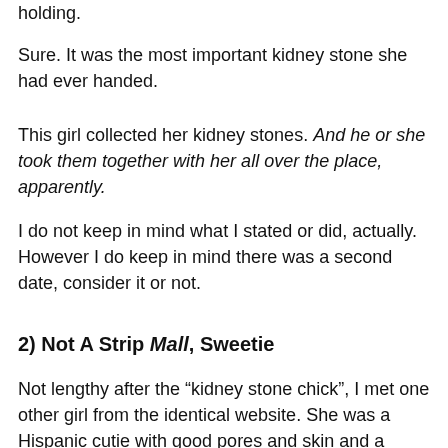holding.
Sure. It was the most important kidney stone she had ever handed.
This girl collected her kidney stones. And he or she took them together with her all over the place, apparently.
I do not keep in mind what I stated or did, actually. However I do keep in mind there was a second date, consider it or not.
2) Not A Strip Mall, Sweetie
Not lengthy after the “kidney stone chick”, I met one other girl from the identical website. She was a Hispanic cutie with good pores and skin and a booty that may have made Sir Combine-A-Lot slam on the brakes. She